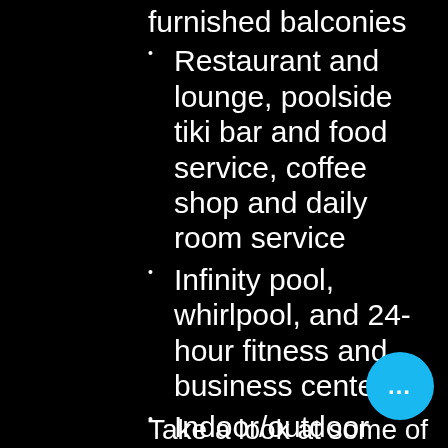furnished balconies
Restaurant and lounge, poolside tiki bar and food service, coffee shop and daily room service
Infinity pool, whirlpool, and 24-hour fitness and business centers
Indoor/outdoor event space and dedicated wedding planner
What to do around here
Take a look at some of Florida's...